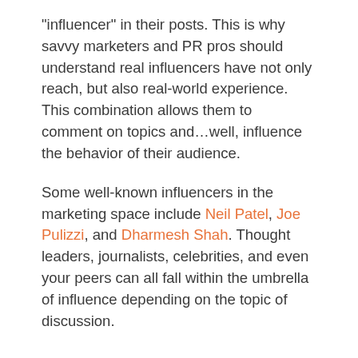"influencer" in their posts. This is why savvy marketers and PR pros should understand real influencers have not only reach, but also real-world experience. This combination allows them to comment on topics and…well, influence the behavior of their audience.
Some well-known influencers in the marketing space include Neil Patel, Joe Pulizzi, and Dharmesh Shah. Thought leaders, journalists, celebrities, and even your peers can all fall within the umbrella of influence depending on the topic of discussion.
What types of influencers should I work